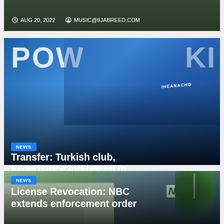[Figure (photo): Partial top of a news card showing a dark background with a person, partially cropped]
AUG 20, 2022   MUSIC@9JABREED.COM
[Figure (photo): Soccer player Iheanacho in blue Leicester City kit, with POW and KI text visible in background]
NEWS
Transfer: Turkish club, Fenerbahce interested in
AUG 20, 2022   MUSIC@9JABREED.COM
[Figure (photo): NBC building with green teal facade and trees, NBC logo visible on building]
NEWS
License Revocation: NBC extends enforcement order